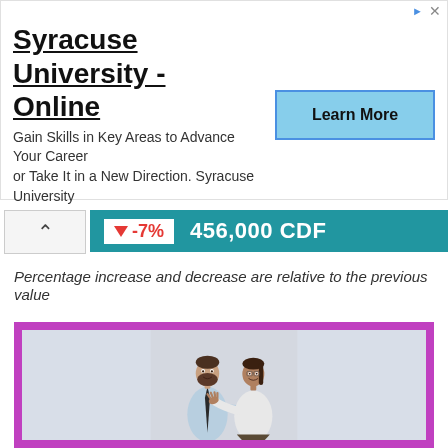[Figure (infographic): Advertisement banner for Syracuse University - Online showing bold title, subtitle text about gaining skills, and a 'Learn More' button in blue]
456,000 CDF with -7% change indicator
Percentage increase and decrease are relative to the previous value
[Figure (photo): Photo of two business professionals — a bearded man in a light blue shirt and tie pointing, and a woman in a white blouse with open palm gesture — against a light grey background, inside a purple/magenta border frame]